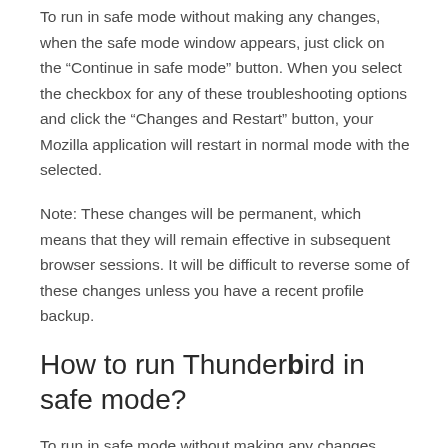To run in safe mode without making any changes, when the safe mode window appears, just click on the "Continue in safe mode" button. When you select the checkbox for any of these troubleshooting options and click the "Changes and Restart" button, your Mozilla application will restart in normal mode with the selected.
Note: These changes will be permanent, which means that they will remain effective in subsequent browser sessions. It will be difficult to reverse some of these changes unless you have a recent profile backup.
How to run Thunderbird in safe mode?
To run in safe mode without making any changes, when the safe mode window appears, just click on the “Continue in safe mode” button. When you select the checkbox for any of these troubleshooting options and click the “Changes and Restart” button, your Mozilla application will